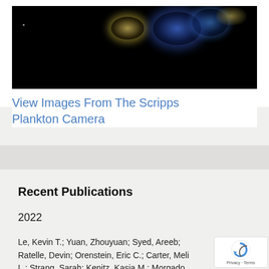[Figure (photo): Microscope image of plankton organisms glowing against a black background — from the Scripps Plankton Camera]
View Images From The Scripps Plankton Camera
Recent Publications
2022
Le, Kevin T.; Yuan, Zhouyuan; Syed, Areeb; Ratelle, Devin; Orenstein, Eric C.; Carter, Meli L.; Strang, Sarah; Kenitz, Kasia M.; Morgado,